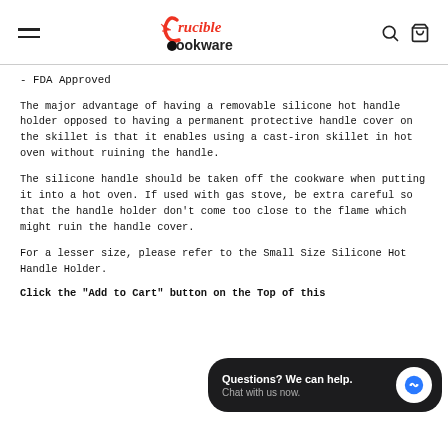Crucible Cookware
- FDA Approved
The major advantage of having a removable silicone hot handle holder opposed to having a permanent protective handle cover on the skillet is that it enables using a cast-iron skillet in hot oven without ruining the handle.
The silicone handle should be taken off the cookware when putting it into a hot oven. If used with gas stove, be extra careful so that the handle holder don't come too close to the flame which might ruin the handle cover.
For a lesser size, please refer to the Small Size Silicone Hot Handle Holder.
Click the "Add to Cart" button on the Top of this